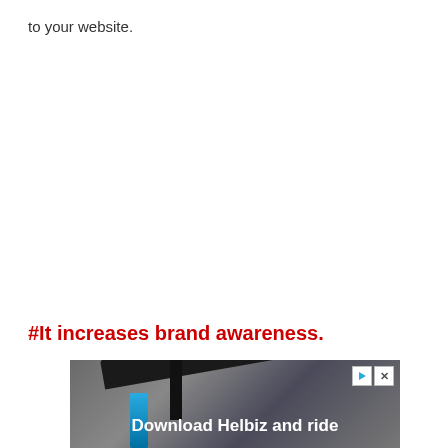to your website.
#It increases brand awareness.
[Figure (photo): Advertisement banner showing a scooter handlebar with text 'Download Helbiz and ride' overlaid on a dark urban background, with an ad close button in the top right corner.]